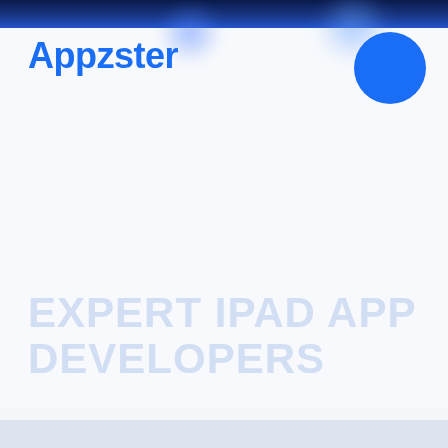[Figure (logo): Dark blue header bar with bokeh light blur effects]
Appzster
[Figure (illustration): Solid blue circle in top right corner]
EXPERT IPAD APP DEVELOPERS